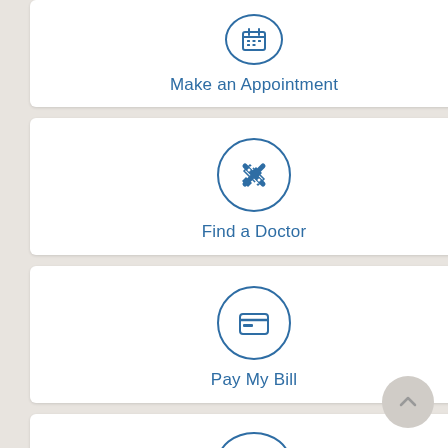[Figure (screenshot): Mobile app UI showing four menu cards: Make an Appointment, Find a Doctor, Pay My Bill, Find the Nearest Medical Office, each with a circular icon and label in blue on white cards against a beige background]
Make an Appointment
Find a Doctor
Pay My Bill
Find the Nearest Medical Office